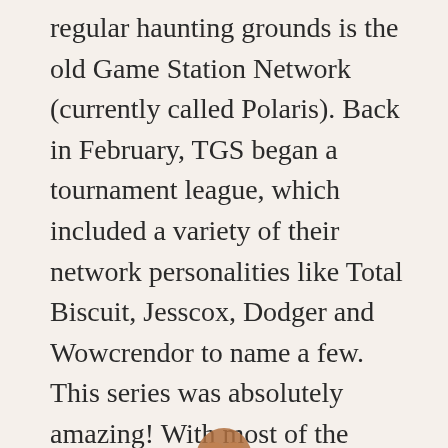regular haunting grounds is the old Game Station Network (currently called Polaris). Back in February, TGS began a tournament league, which included a variety of their network personalities like Total Biscuit, Jesscox, Dodger and Wowcrendor to name a few. This series was absolutely amazing! With most of the hosts having no clue how to play the game (excluding TB and Angry Joe) it turned out exactly how you would expect. Dark Elves running for it, but falling on their faces. Amazons getting smashed by Chaos Dwarves. Wood Elf teams getting crippled to one a man. This series was immense.
[Figure (illustration): Partial image visible at bottom center of page, appears to be a character or figure cropped at the page edge.]